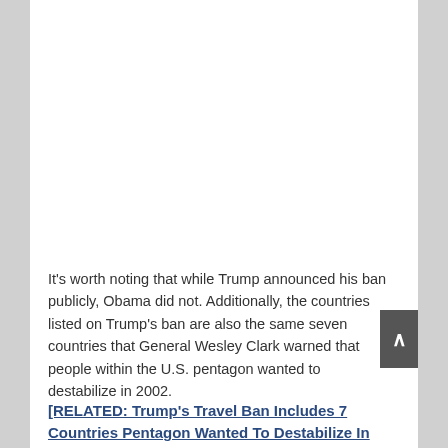It's worth noting that while Trump announced his ban publicly, Obama did not. Additionally, the countries listed on Trump's ban are also the same seven countries that General Wesley Clark warned that people within the U.S. pentagon wanted to destabilize in 2002.
[RELATED: Trump's Travel Ban Includes 7 Countries Pentagon Wanted To Destabilize In